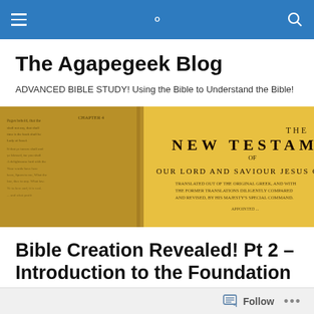The Agapegeek Blog navigation bar
The Agapegeek Blog
ADVANCED BIBLE STUDY! Using the Bible to Understand the Bible!
[Figure (photo): Open Bible showing The New Testament of Our Lord and Saviour Jesus Christ, golden/warm toned photograph]
Bible Creation Revealed! Pt 2 – Introduction to the Foundation of the World!
Follow